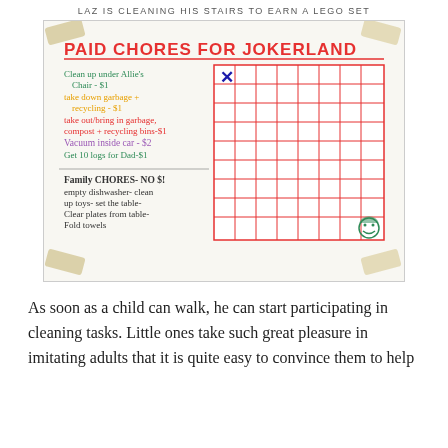LAZ IS CLEANING HIS STAIRS TO EARN A LEGO SET
[Figure (photo): A hand-drawn chore chart on white paper taped to a wall. Title reads 'PAID CHORES FOR JOKERLAND' in red marker. Lists paid chores: Clean up under Allie's Chair - $1, take down garbage + recycling - $1, take out/bring in garbage, compost + recycling bins - $1, Vacuum inside car - $2, Get 10 logs for Dad - $1. A grid of squares is drawn on the right side with an X in the top-left cell. Below is a 'Family Chores - NO $!' section listing: empty dishwasher, clean up toys, set the table, clear plates from table, fold towels. A small smiley face drawing appears in bottom-right of grid.]
As soon as a child can walk, he can start participating in cleaning tasks. Little ones take such great pleasure in imitating adults that it is quite easy to convince them to help